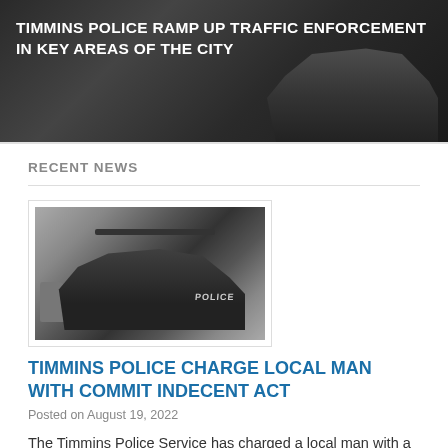[Figure (photo): Dark police vehicle banner image with white bold text overlay reading 'TIMMINS POLICE RAMP UP TRAFFIC ENFORCEMENT IN KEY AREAS OF THE CITY']
TIMMINS POLICE RAMP UP TRAFFIC ENFORCEMENT IN KEY AREAS OF THE CITY
RECENT NEWS
[Figure (photo): Black and white photograph of a Timmins Police Service Dodge Durango SUV parked outdoors with a rock formation visible in the background]
TIMMINS POLICE CHARGE LOCAL MAN WITH COMMIT INDECENT ACT
Posted on August 19, 2022
The Timmins Police Service has charged a local man with a Criminal Code offence stemming from an incident